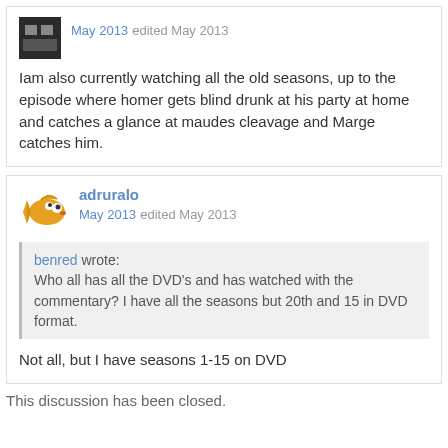May 2013 edited May 2013
Iam also currently watching all the old seasons, up to the episode where homer gets blind drunk at his party at home and catches a glance at maudes cleavage and Marge catches him.
adruralo
May 2013 edited May 2013
benred wrote: Who all has all the DVD's and has watched with the commentary? I have all the seasons but 20th and 15 in DVD format.
Not all, but I have seasons 1-15 on DVD
This discussion has been closed.